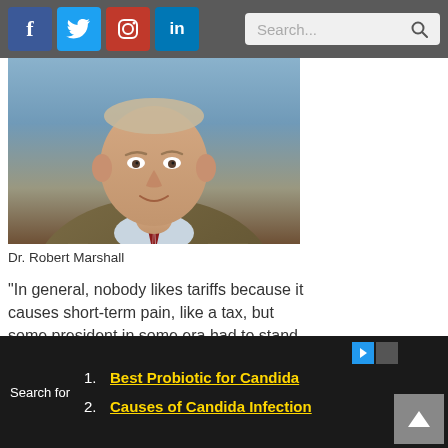[Figure (photo): Screenshot of a webpage showing social media icons (Facebook, Twitter, Instagram, LinkedIn) and a search bar at the top]
[Figure (photo): Portrait photo of Dr. Robert Marshall, an older man wearing a brown plaid sweater and red striped tie, smiling, with a blue-grey background]
Dr. Robert Marshall
“In general, nobody likes tariffs because it causes short-term pain, like a tax, but some president in some era had to stand up to China,” Tarter said. “(President Trump) renegotiated the NAFTA and it’s better for our farmers … with the
Search for
1. Best Probiotic for Candida
2. Causes of Candida Infection